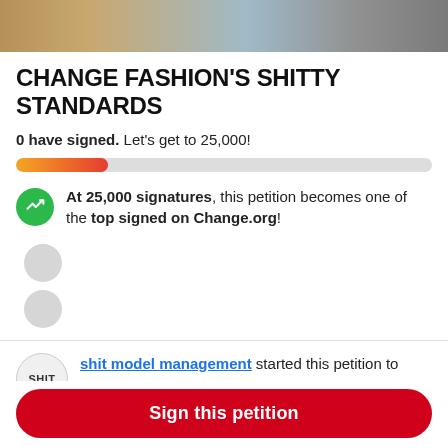[Figure (photo): Top strip showing partial fashion/shoes photo]
CHANGE FASHION'S SHITTY STANDARDS
0 have signed. Let's get to 25,000!
[Figure (infographic): Progress bar showing partial fill from orange to red on gray background]
At 25,000 signatures, this petition becomes one of the top signed on Change.org!
shit model management started this petition to Alexander Wang and 46 others
I run an Instagram page that is a safe space for
Sign this petition